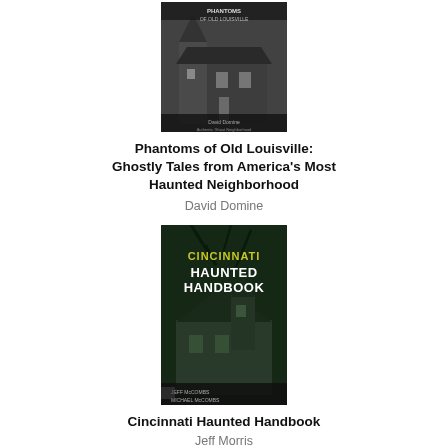[Figure (photo): Book cover of 'Phantoms of Old Louisville: Ghostly Tales from America's Most Haunted Neighborhood' by David Domine — grayscale image of a Victorian mansion with a turret]
Phantoms of Old Louisville: Ghostly Tales from America's Most Haunted Neighborhood
David Domine
[Figure (photo): Book cover of 'Cincinnati Haunted Handbook' — dark green-tinted cover with a haunted house and 'Cincinnati Haunted Handbook' text in yellow/white, authors Jeff Morris and Michael Morris]
Cincinnati Haunted Handbook
Jeff Morris